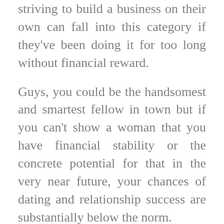striving to build a business on their own can fall into this category if they've been doing it for too long without financial reward.
Guys, you could be the handsomest and smartest fellow in town but if you can't show a woman that you have financial stability or the concrete potential for that in the very near future, your chances of dating and relationship success are substantially below the norm.
Solution: either get a real job or get involved in a real business that has potential to grow in the near future. Do it